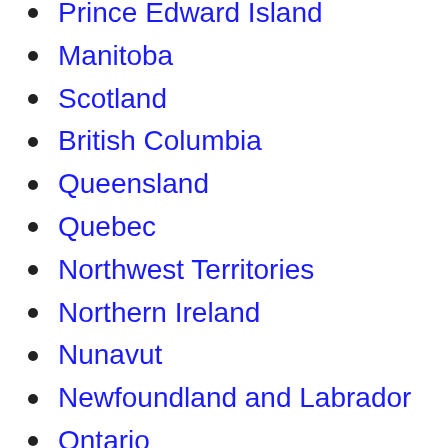Prince Edward Island
Manitoba
Scotland
British Columbia
Queensland
Quebec
Northwest Territories
Northern Ireland
Nunavut
Newfoundland and Labrador
Ontario
Northern Territory